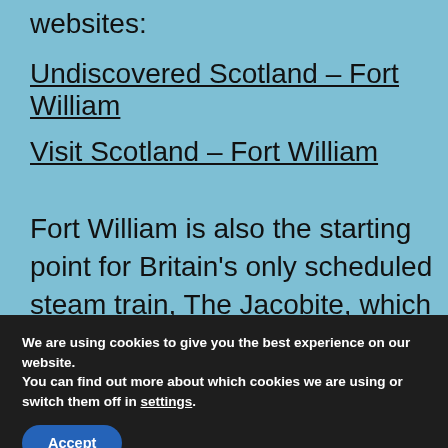websites:
Undiscovered Scotland – Fort William
Visit Scotland – Fort William
Fort William is also the starting point for Britain's only scheduled steam train, The Jacobite, which runs along the West Highland Line to the port of Mallaig from where a ferry
We are using cookies to give you the best experience on our website.
You can find out more about which cookies we are using or switch them off in settings.
Accept